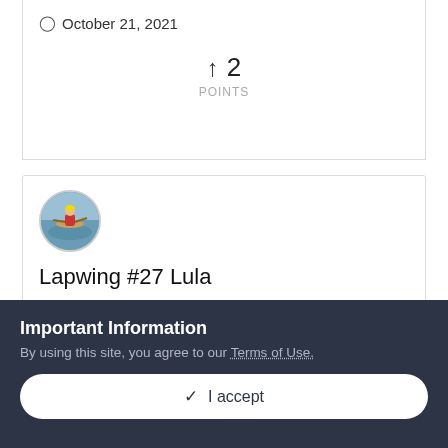October 21, 2021
↑ 2
POINTS
Lapwing #27 Lula
I have been doing some work on the masts. The 10:1 scarfs worked out well. I cut the birds mouths but made a rookie mistake on the mizzen. Thought I could get...
Important Information
By using this site, you agree to our Terms of Use.
✓ I accept